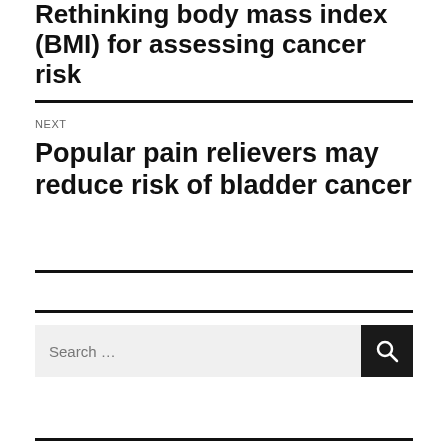Rethinking body mass index (BMI) for assessing cancer risk
NEXT
Popular pain relievers may reduce risk of bladder cancer
[Figure (other): Search box with text input field labeled 'Search ...' and a dark search button with magnifying glass icon]